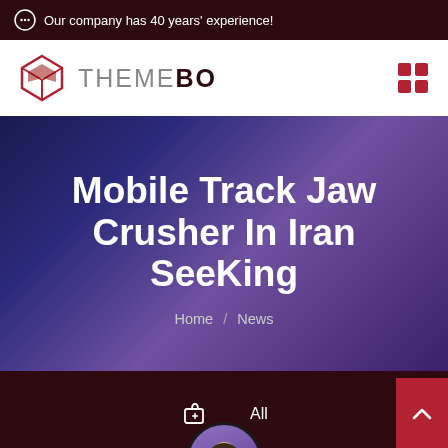Our company has 40 years' experience!
[Figure (logo): ThemeBo logo with red hexagonal box icon and text THEMEBO]
Mobile Track Jaw Crusher In Iran SeeKing
Home / News
Leave Message
Chat Online